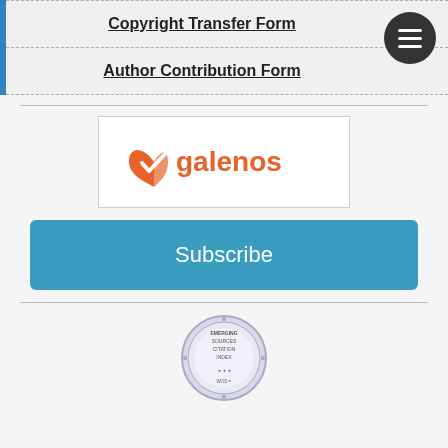Copyright Transfer Form
Author Contribution Form
[Figure (logo): Galenos publishing logo — orange stylized leaf/bookmark icon with word 'galenos' in orange sans-serif font inside a white bordered box]
Subscribe
[Figure (logo): Emerging Sources Citation Index (ESCI) badge/seal — circular silver badge with text around the rim]